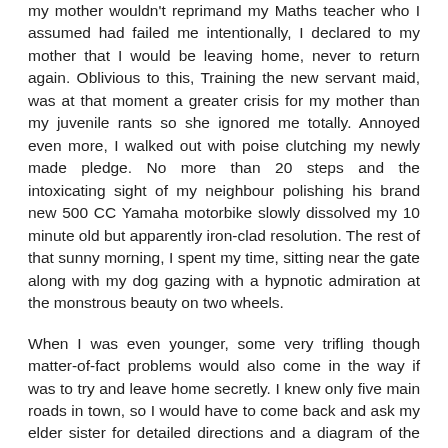my mother wouldn't reprimand my Maths teacher who I assumed had failed me intentionally, I declared to my mother that I would be leaving home, never to return again. Oblivious to this, Training the new servant maid, was at that moment a greater crisis for my mother than my juvenile rants so she ignored me totally. Annoyed even more, I walked out with poise clutching my newly made pledge. No more than 20 steps and the intoxicating sight of my neighbour polishing his brand new 500 CC Yamaha motorbike slowly dissolved my 10 minute old but apparently iron-clad resolution. The rest of that sunny morning, I spent my time, sitting near the gate along with my dog gazing with a hypnotic admiration at the monstrous beauty on two wheels.
When I was even younger, some very trifling though matter-of-fact problems would also come in the way if was to try and leave home secretly. I knew only five main roads in town, so I would have to come back and ask my elder sister for detailed directions and a diagram of the place I have to run away to. Since my sister would only keep a secret for a maximum of five-and-a-half minutes, she would end up telling my mother about it besides publicizing it to at least